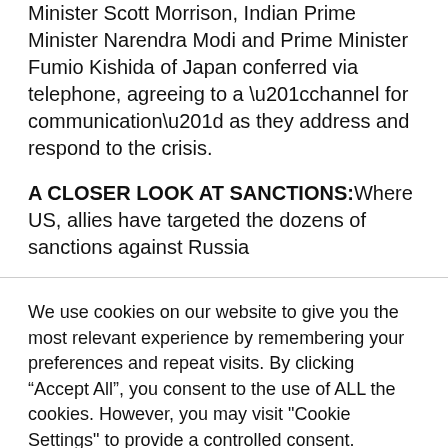Minister Scott Morrison, Indian Prime Minister Narendra Modi and Prime Minister Fumio Kishida of Japan conferred via telephone, agreeing to a “channel for communication” as they address and respond to the crisis.
A CLOSER LOOK AT SANCTIONS: Where US, allies have targeted the dozens of sanctions against Russia
We use cookies on our website to give you the most relevant experience by remembering your preferences and repeat visits. By clicking “Accept All”, you consent to the use of ALL the cookies. However, you may visit "Cookie Settings" to provide a controlled consent.